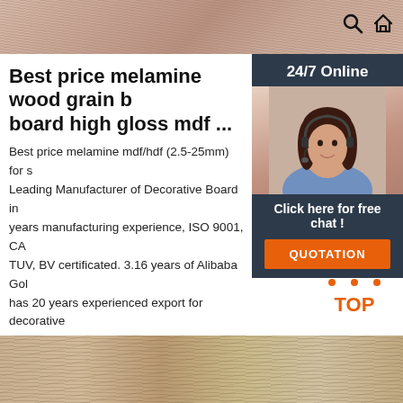🔍 🏠
[Figure (photo): Wood grain texture strip at top of page]
Best price melamine wood grain board high gloss mdf ...
Best price melamine mdf/hdf (2.5-25mm) for s Leading Manufacturer of Decorative Board in years manufacturing experience, ISO9001, CA TUV, BV certificated. 3.16 years of Alibaba Gol has 20 years experienced export for decorative Enjoying good reputation in quality control.
[Figure (photo): 24/7 Online customer service representative with headset, dark background sidebar panel with 'Click here for free chat!' text and orange QUOTATION button]
Get Price
[Figure (logo): Orange TOP badge with dot triangle above the word TOP]
[Figure (photo): OSB oriented strand board wood texture at bottom of page]